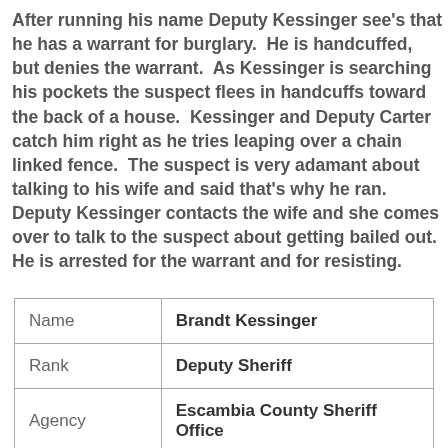After running his name Deputy Kessinger see's that he has a warrant for burglary.  He is handcuffed, but denies the warrant.  As Kessinger is searching his pockets the suspect flees in handcuffs toward the back of a house.  Kessinger and Deputy Carter catch him right as he tries leaping over a chain linked fence.  The suspect is very adamant about talking to his wife and said that's why he ran.  Deputy Kessinger contacts the wife and she comes over to talk to the suspect about getting bailed out. He is arrested for the warrant and for resisting.
| Name | Brandt Kessinger |
| Rank | Deputy Sheriff |
| Agency | Escambia County Sheriff Office |